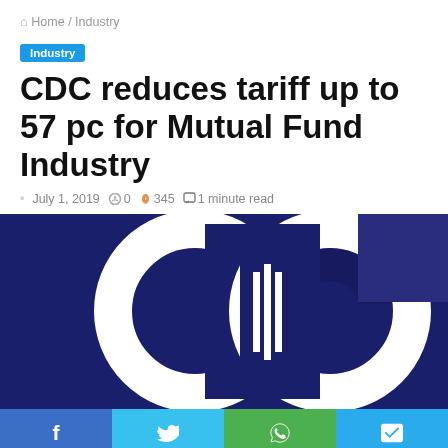🏠 Home / Industry
Industry
CDC reduces tariff up to 57 pc for Mutual Fund Industry
July 1, 2019 · 0 · 345 · 1 minute read
[Figure (logo): CDC (Central Depository Company) logo — white geometric circles and vertical bars on a dark navy blue background]
f | y | © | >